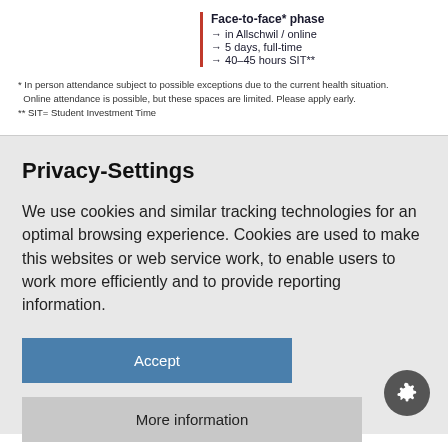Face-to-face* phase
→ in Allschwil / online
→ 5 days, full-time
→ 40–45 hours SIT**
* In person attendance subject to possible exceptions due to the current health situation. Online attendance is possible, but these spaces are limited. Please apply early.
** SIT= Student Investment Time
Privacy-Settings
We use cookies and similar tracking technologies for an optimal browsing experience. Cookies are used to make this websites or web service work, to enable users to work more efficiently and to provide reporting information.
Accept
More information